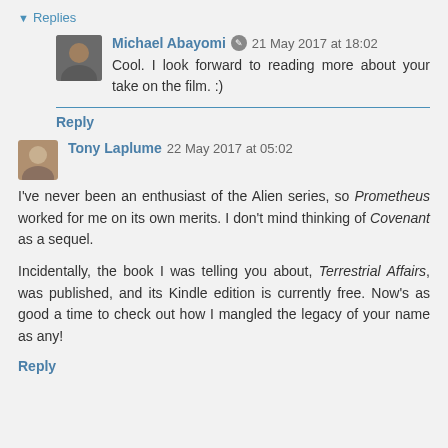▼ Replies
Michael Abayomi  21 May 2017 at 18:02
Cool. I look forward to reading more about your take on the film. :)
Reply
Tony Laplume  22 May 2017 at 05:02
I've never been an enthusiast of the Alien series, so Prometheus worked for me on its own merits. I don't mind thinking of Covenant as a sequel.

Incidentally, the book I was telling you about, Terrestrial Affairs, was published, and its Kindle edition is currently free. Now's as good a time to check out how I mangled the legacy of your name as any!
Reply